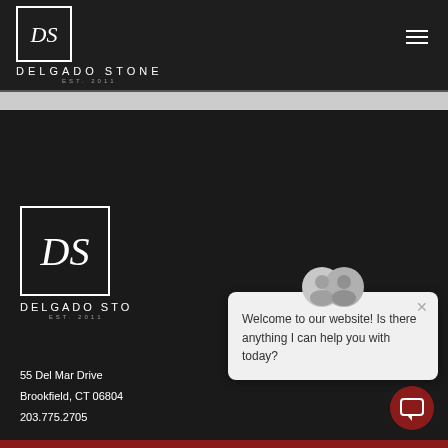[Figure (logo): Delgado Stone logo with DS monogram in bordered box, header version]
DELGADO STONE
EST. 2011
[Figure (logo): Hamburger menu icon (three horizontal lines)]
[Figure (logo): Delgado Stone footer logo with DS monogram in bordered box, larger version]
DELGADO STO
EST. 2011
Welcome to our website! Is there anything I can help you with today?
55 Del Mar Drive
Brookfield, CT 06804
203.775.2705